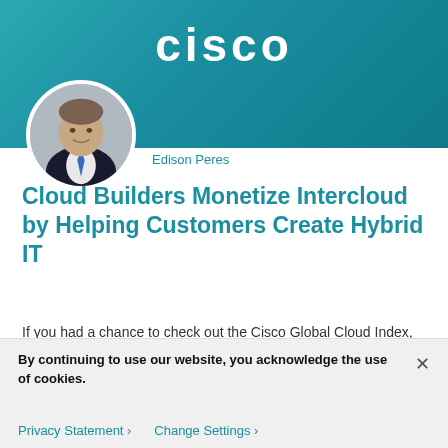[Figure (logo): Cisco logo in white text on teal gradient background header banner]
[Figure (photo): Circular profile photo of Edison Peres, a man in a dark suit with a blue tie]
Edison Peres
Cloud Builders Monetize Intercloud by Helping Customers Create Hybrid IT
If you had a chance to check out the Cisco Global Cloud Index, it’s no real surprise that data center traffic will nearly triple over the next five years and cloud traffic will nearly quadruple.
By continuing to use our website, you acknowledge the use of cookies.
Privacy Statement ›   Change Settings ›